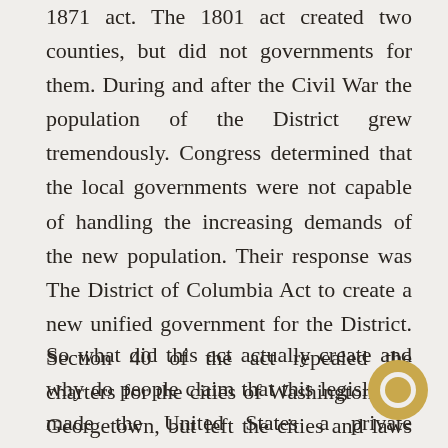1871 act. The 1801 act created two counties, but did not governments for them. During and after the Civil War the population of the District grew tremendously. Congress determined that the local governments were not capable of handling the increasing demands of the new population. Their response was The District of Columbia Act to create a new unified government for the District. Section 40 of the act repealed the charters for the cities of Washington and Georgetown, but left the cities and laws generally intact. The rest of this act was primarily the charter establishing this new government.
So what did this act actually create and why do people claim that this legislation made the United States a private corporation? It seems the idea that
[Figure (illustration): Gold circular chat/message bubble icon in the bottom right corner of the page]